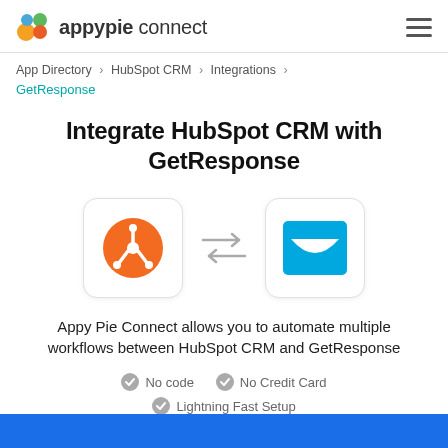appypie connect
App Directory > HubSpot CRM > Integrations > GetResponse
Integrate HubSpot CRM with GetResponse
[Figure (logo): HubSpot CRM logo (orange circle with hub icon) and GetResponse logo (blue square with smile/envelope icon) connected by bidirectional arrows]
Appy Pie Connect allows you to automate multiple workflows between HubSpot CRM and GetResponse
No code  No Credit Card  Lightning Fast Setup